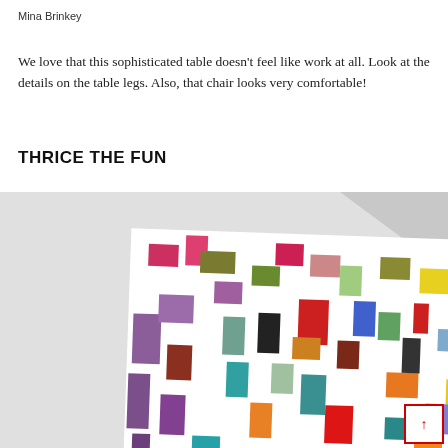Mina Brinkey
We love that this sophisticated table doesn’t feel like work at all. Look at the details on the table legs. Also, that chair looks very comfortable!
THRICE THE FUN
[Figure (photo): A colorful abstract artwork made of overlapping rectangular pieces in many colors (purple, red, orange, yellow, green, blue, teal, pink, white, brown) mounted on a light grey wall. The composition is tilted slightly.]